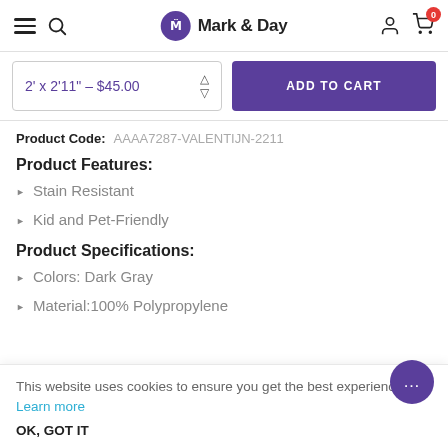Mark & Day
2' x 2'11" – $45.00
ADD TO CART
Product Code: AAAA7287-VALENTIJN-2211
Product Features:
Stain Resistant
Kid and Pet-Friendly
Product Specifications:
Colors: Dark Gray
Material:100% Polypropylene
This website uses cookies to ensure you get the best experience. Learn more
OK, GOT IT